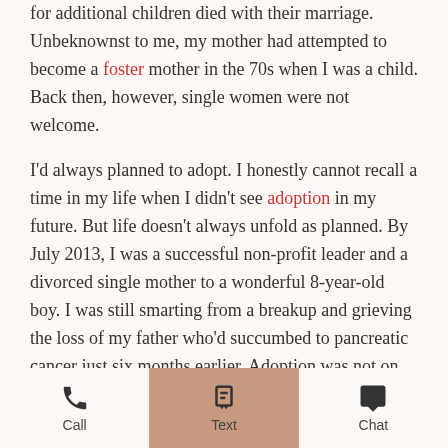for additional children died with their marriage. Unbeknownst to me, my mother had attempted to become a foster mother in the 70s when I was a child. Back then, however, single women were not welcome.
I'd always planned to adopt. I honestly cannot recall a time in my life when I didn't see adoption in my future. But life doesn't always unfold as planned. By July 2013, I was a successful non-profit leader and a divorced single mother to a wonderful 8-year-old boy. I was still smarting from a breakup and grieving the loss of my father who'd succumbed to pancreatic cancer just six months earlier. Adoption was not on my radar, at least not for me personally.
My best friend t...
Call | Text | Chat